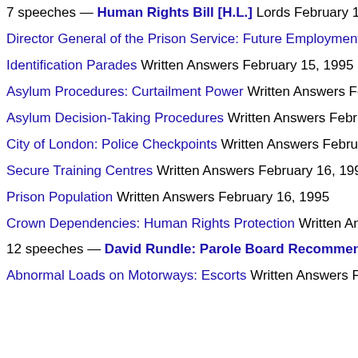7 speeches — Human Rights Bill [H.L.] Lords February 15, 1
Director General of the Prison Service: Future Employment Wi
Identification Parades Written Answers February 15, 1995
Asylum Procedures: Curtailment Power Written Answers Febru
Asylum Decision-Taking Procedures Written Answers February
City of London: Police Checkpoints Written Answers February
Secure Training Centres Written Answers February 16, 1995
Prison Population Written Answers February 16, 1995
Crown Dependencies: Human Rights Protection Written Answe
12 speeches — David Rundle: Parole Board Recommendat
Abnormal Loads on Motorways: Escorts Written Answers Febr